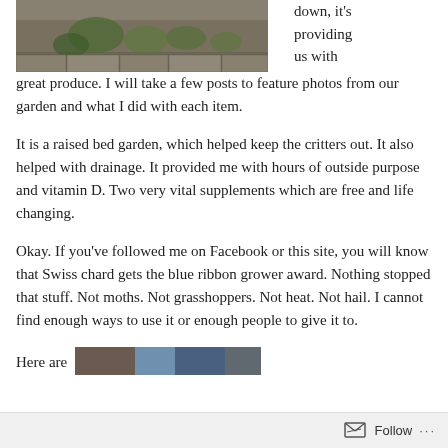[Figure (photo): Cropped view of a raised bed garden with plants and stone border, partially visible at the top of the page.]
down, it's providing us with great produce.  I will take a few posts to feature photos from our garden and what I did with each item.
It is a raised bed garden, which helped keep the critters out.  It also helped with drainage.  It provided me with hours of outside purpose and vitamin D.  Two very vital supplements which are free and life changing.
Okay.  If you’ve followed me on Facebook or this site, you will know that Swiss chard gets the blue ribbon grower award.  Nothing stopped that stuff.  Not moths.  Not grasshoppers.  Not heat.  Not hail.  I cannot find enough ways to use it or enough people to give it to.
Here are
[Figure (photo): Partial photo visible at the bottom of the page, showing some colorful produce or plant material.]
Follow